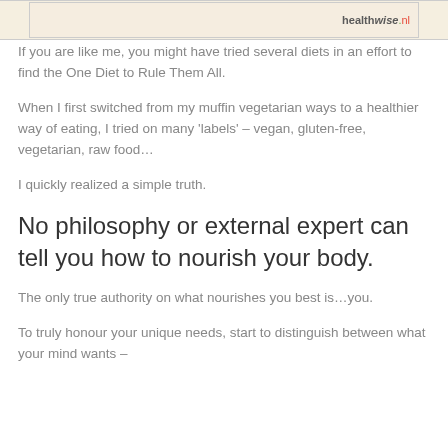[Figure (screenshot): Partial banner/header image showing a healthwise.nl logo on a beige background]
If you are like me, you might have tried several diets in an effort to find the One Diet to Rule Them All.
When I first switched from my muffin vegetarian ways to a healthier way of eating, I tried on many 'labels' – vegan, gluten-free, vegetarian, raw food…
I quickly realized a simple truth.
No philosophy or external expert can tell you how to nourish your body.
The only true authority on what nourishes you best is…you.
To truly honour your unique needs, start to distinguish between what your mind wants –